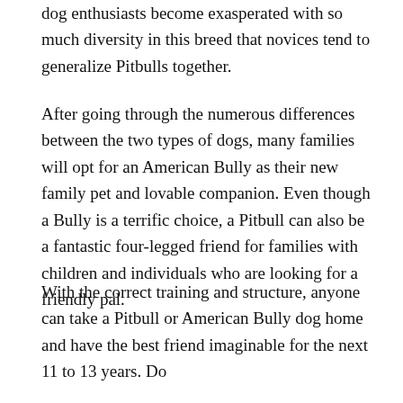dog enthusiasts become exasperated with so much diversity in this breed that novices tend to generalize Pitbulls together.
After going through the numerous differences between the two types of dogs, many families will opt for an American Bully as their new family pet and lovable companion. Even though a Bully is a terrific choice, a Pitbull can also be a fantastic four-legged friend for families with children and individuals who are looking for a friendly pal.
With the correct training and structure, anyone can take a Pitbull or American Bully dog home and have the best friend imaginable for the next 11 to 13 years. Do